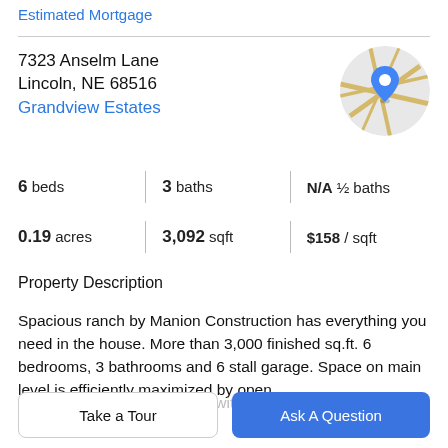Estimated Mortgage
7323 Anselm Lane
Lincoln, NE 68516
Grandview Estates
[Figure (map): Circular map thumbnail showing street map with a blue location pin marker]
| 6 beds | 3 baths | N/A ½ baths |
| 0.19 acres | 3,092 sqft | $158 / sqft |
Property Description
Spacious ranch by Manion Construction has everything you need in the house. More than 3,000 finished sq.ft. 6 bedrooms, 3 bathrooms and 6 stall garage. Space on main level is efficiently maximized by open
kitchen/living/dining concept with vaulted ceiling to the
Take a Tour
Ask A Question